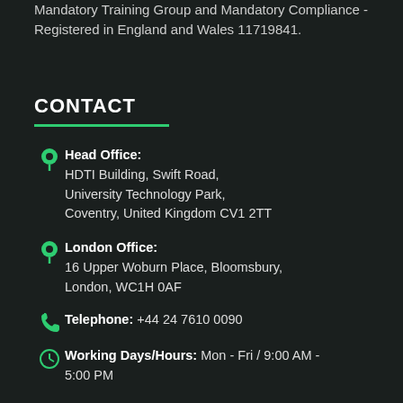Mandatory Training Group and Mandatory Compliance - Registered in England and Wales 11719841.
CONTACT
Head Office: HDTI Building, Swift Road, University Technology Park, Coventry, United Kingdom CV1 2TT
London Office: 16 Upper Woburn Place, Bloomsbury, London, WC1H 0AF
Telephone: +44 24 7610 0090
Working Days/Hours: Mon - Fri / 9:00 AM - 5:00 PM